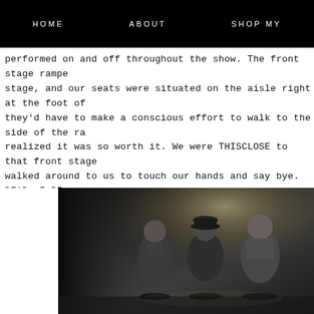HOME   ABOUT   SHOP MY
performed on and off throughout the show. The front stage rampe stage, and our seats were situated on the aisle right at the foot of they'd have to make a conscious effort to walk to the side of the ra realized it was so worth it. We were THISCLOSE to that front stage walked around to us to touch our hands and say bye. DEAD. I DI there was hope yet of me touching a New Kid. I've touched a few N
[Figure (photo): Three men standing on a darkened stage under dramatic lighting. The men appear to be performers on stage. The background is dark with a light glow effect from upper right. One man on the left, one in the middle wearing a cap, one on the right. All wearing casual dark clothing.]